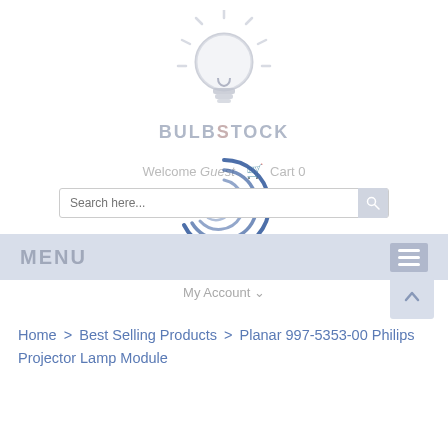[Figure (logo): BulbStock logo: a light bulb icon with rays above the text BULBSTOCK in stylized letters]
Welcome Guest  🛒 Cart 0
[Figure (screenshot): Search input field with search icon button]
[Figure (other): Animated loading spinner (concentric arc rings in blue)]
MENU ≡
My Account ∨
Home > Best Selling Products > Planar 997-5353-00 Philips Projector Lamp Module